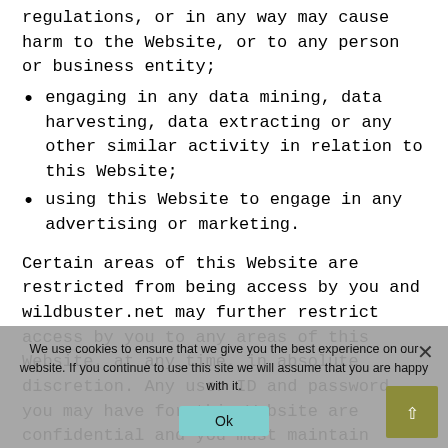regulations, or in any way may cause harm to the Website, or to any person or business entity;
engaging in any data mining, data harvesting, data extracting or any other similar activity in relation to this Website;
using this Website to engage in any advertising or marketing.
Certain areas of this Website are restricted from being access by you and wildbuster.net may further restrict access by you to any areas of this Website, at any time, in absolute discretion. Any user ID and password you may have for this Website are confidential and you must maintain confidentiality as well.
Your Content
We use cookies to ensure that we give you the best experience on our website. If you continue to use this site we will assume that you are happy with it.